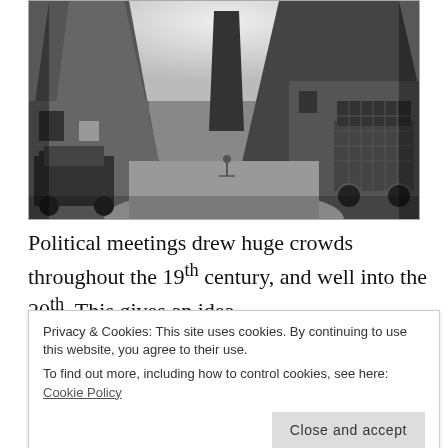[Figure (photo): Black and white historical photograph showing a narrow path or lane between large oast house kilns (conical structures). A vehicle is on the left, a loaded cart on the right, and a figure on a bicycle is visible in the middle distance.]
Political meetings drew huge crowds throughout the 19th century, and well into the 20th. This gives an idea
Privacy & Cookies: This site uses cookies. By continuing to use this website, you agree to their use. To find out more, including how to control cookies, see here: Cookie Policy
capacity of 20,000, all gathered to listen to William